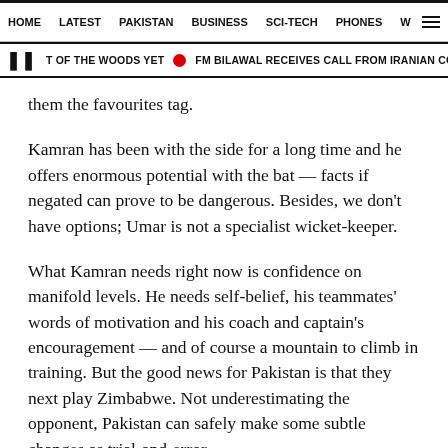HOME   LATEST   PAKISTAN   BUSINESS   SCI-TECH   PHONES   W  ☰
❚ T OF THE WOODS YET  🔴  FM BILAWAL RECEIVES CALL FROM IRANIAN COUNTERPAR
them the favourites tag.
Kamran has been with the side for a long time and he offers enormous potential with the bat — facts if negated can prove to be dangerous. Besides, we don't have options; Umar is not a specialist wicket-keeper.
What Kamran needs right now is confidence on manifold levels. He needs self-belief, his teammates' words of motivation and his coach and captain's encouragement — and of course a mountain to climb in training. But the good news for Pakistan is that they next play Zimbabwe. Not underestimating the opponent, Pakistan can safely make some subtle changes as trial-and-error.